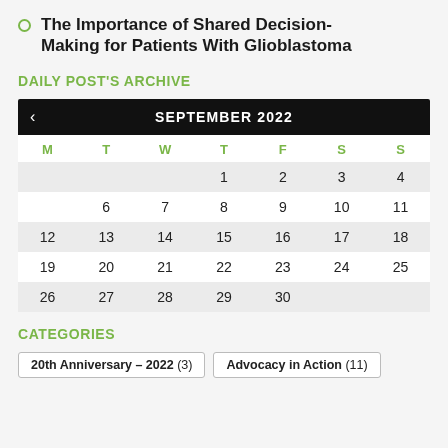The Importance of Shared Decision-Making for Patients With Glioblastoma
DAILY POST'S ARCHIVE
| M | T | W | T | F | S | S |
| --- | --- | --- | --- | --- | --- | --- |
|  |  |  | 1 | 2 | 3 | 4 |
| 5 | 6 | 7 | 8 | 9 | 10 | 11 |
| 12 | 13 | 14 | 15 | 16 | 17 | 18 |
| 19 | 20 | 21 | 22 | 23 | 24 | 25 |
| 26 | 27 | 28 | 29 | 30 |  |  |
CATEGORIES
20th Anniversary – 2022 (3)
Advocacy in Action (11)